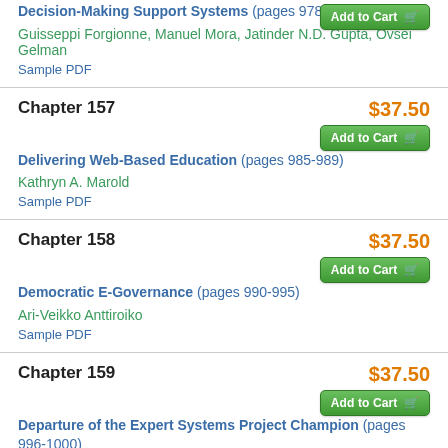Decision-Making Support Systems (pages 978-984)
Guisseppi Forgionne, Manuel Mora, Jatinder N.D. Gupta, Ovsei Gelman
Sample PDF
Chapter 157
Delivering Web-Based Education (pages 985-989)
Kathryn A. Marold
Sample PDF
Chapter 158
Democratic E-Governance (pages 990-995)
Ari-Veikko Anttiroiko
Sample PDF
Chapter 159
Departure of the Expert Systems Project Champion (pages 996-1000)
Janice C. Sipior
Sample PDF